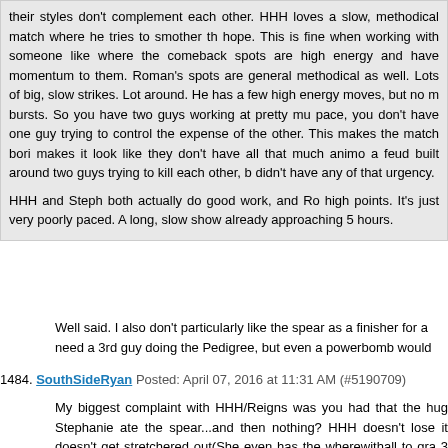their styles don't complement each other. HHH loves a slow, methodical match where he tries to smother the hope. This is fine when working with someone like where the comeback spots are high energy and have momentum to them. Roman's spots are generally methodical as well. Lots of big, slow strikes. Lots around. He has a few high energy moves, but no real bursts. So you have two guys working at pretty much pace, you don't have one guy trying to control the expense of the other. This makes the match bori makes it look like they don't have all that much animo a feud built around two guys trying to kill each other, b didn't have any of that urgency.

HHH and Steph both actually do good work, and Ro high points. It's just very poorly paced. A long, slow show already approaching 5 hours.
Well said. I also don't particularly like the spear as a finisher for a need a 3rd guy doing the Pedigree, but even a powerbomb would
1484. SouthSideRyan Posted: April 07, 2016 at 11:31 AM (#5190709)
My biggest complaint with HHH/Reigns was you had that the hug Stephanie ate the spear...and then nothing? HHH doesn't lose it doesn't get stretchered out(She even has the wherewithall to gra 3 minutes later?) Like it popped the crowd, but it seemed to be im If you don't want to dwell on a man accidentally hitting a woman, spot in the first place.